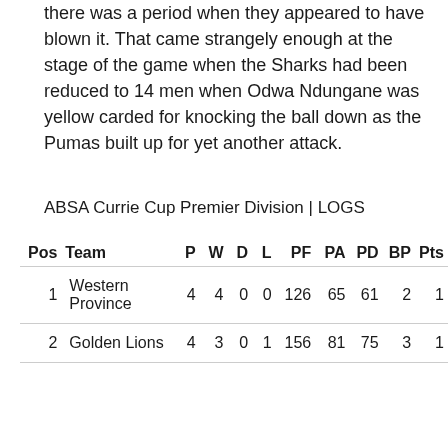there was a period when they appeared to have blown it. That came strangely enough at the stage of the game when the Sharks had been reduced to 14 men when Odwa Ndungane was yellow carded for knocking the ball down as the Pumas built up for yet another attack.
ABSA Currie Cup Premier Division | LOGS
| Pos | Team | P | W | D | L | PF | PA | PD | BP | Pts |
| --- | --- | --- | --- | --- | --- | --- | --- | --- | --- | --- |
| 1 | Western Province | 4 | 4 | 0 | 0 | 126 | 65 | 61 | 2 | 1 |
| 2 | Golden Lions | 4 | 3 | 0 | 1 | 156 | 81 | 75 | 3 | 1 |